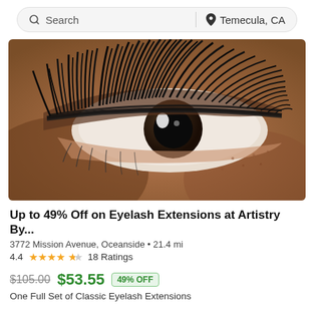Search | Temecula, CA
[Figure (photo): Close-up macro photo of a human eye with dramatic eyelash extensions applied, showing thick dark lashes against skin tones of brown/tan.]
Up to 49% Off on Eyelash Extensions at Artistry By...
3772 Mission Avenue, Oceanside • 21.4 mi
4.4 ★★★★½ 18 Ratings
$105.00 $53.55 49% OFF
One Full Set of Classic Eyelash Extensions